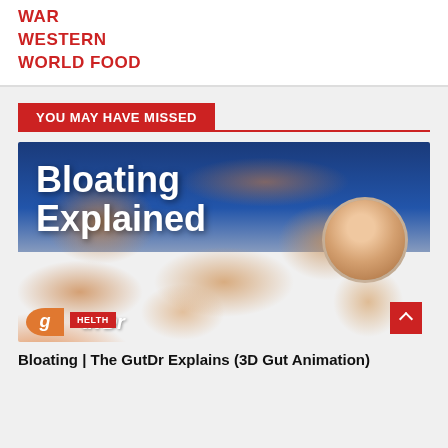WAR
WESTERN
WORLD FOOD
YOU MAY HAVE MISSED
[Figure (screenshot): Thumbnail image showing 3D gut animation with text 'Bloating Explained', a doctor's circular headshot, GutDr logo, and HELTH badge]
Bloating | The GutDr Explains (3D Gut Animation)